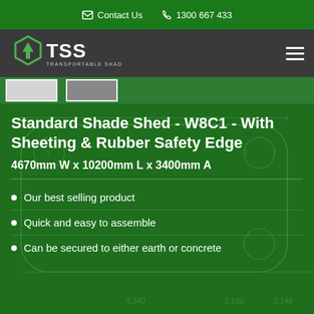Contact Us  1300 667 433
[Figure (logo): TSS Transportable Shade Sheds logo with hexagon icon and white text]
[Figure (photo): Two thumbnail images of shade shed products on green background]
Standard Shade Shed - W8C1 - With Sheeting & Rubber Safety Edge
4670mm W x 10200mm L x 3400mm A
Our best selling product
Quick and easy to assemble
Can be secured to either earth or concrete